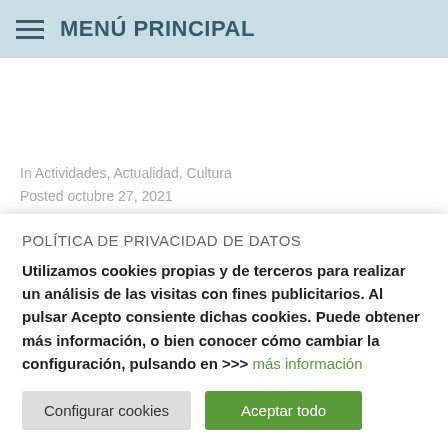MENÚ PRINCIPAL
In Actividades, Actualidad, Cultura
Posted octubre 27, 2021
RUTAS TERRITORIO MUDÉJAR
POLÍTICA DE PRIVACIDAD DE DATOS
Utilizamos cookies propias y de terceros para realizar un análisis de las visitas con fines publicitarios. Al pulsar Acepto consiente dichas cookies. Puede obtener más información, o bien conocer cómo cambiar la configuración, pulsando en >>> más información
Configurar cookies | Aceptar todo